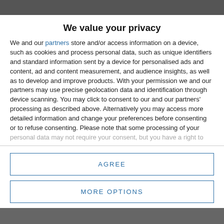[Figure (photo): Dark blurred background image at top of page]
We value your privacy
We and our partners store and/or access information on a device, such as cookies and process personal data, such as unique identifiers and standard information sent by a device for personalised ads and content, ad and content measurement, and audience insights, as well as to develop and improve products. With your permission we and our partners may use precise geolocation data and identification through device scanning. You may click to consent to our and our partners' processing as described above. Alternatively you may access more detailed information and change your preferences before consenting or to refuse consenting. Please note that some processing of your personal data may not require your consent, but you have a right to
AGREE
MORE OPTIONS
[Figure (photo): Dark blurred background image at bottom of page]